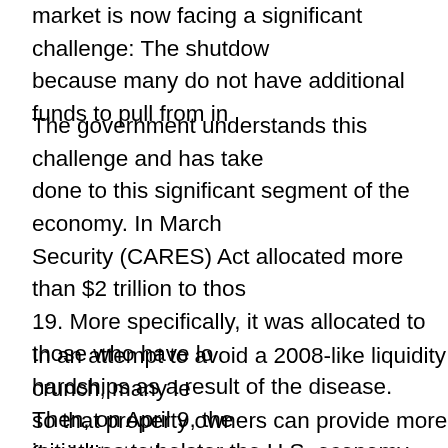market is now facing a significant challenge: The shutdown because many do not have additional funds to pull from in
The government understands this challenge and has taken done to this significant segment of the economy. In March Security (CARES) Act allocated more than $2 trillion to those 19. More specifically, it was allocated to those who have lost hardships as a result of the disease. Then, on April 9, the initiatives to bolster the U.S. economy, which includes an providing significant liquidity to the market and the economy.
In an attempt to avoid a 2008-like liquidity crunch, many lenders so that property owners can provide more flexibility to their owners cannot pay—therefore, banks are forced to foreclose and the availability of these programs will provide enough